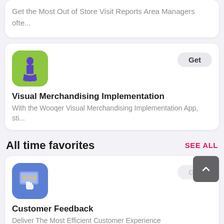Get the Most Out of Store Visit Reports Area Managers ofte...
[Figure (illustration): Green app icon with a purple dress form/mannequin silhouette on lime green background]
Visual Merchandising Implementation
With the Wooqer Visual Merchandising Implementation App, sti...
All time favorites
[Figure (illustration): Blue app icon with a computer/tablet screen showing 3 stars and a hand cursor on blue background]
Customer Feedback
Deliver The Most Efficient Customer Experience